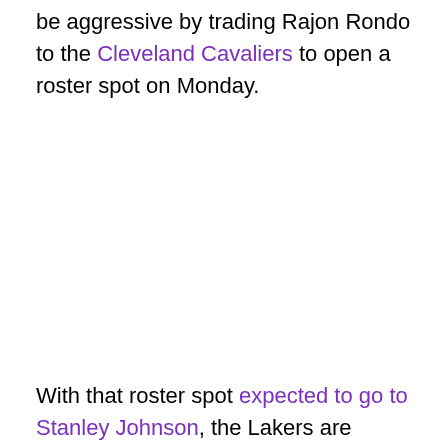be aggressive by trading Rajon Rondo to the Cleveland Cavaliers to open a roster spot on Monday.
With that roster spot expected to go to Stanley Johnson, the Lakers are looking for ways to create more vacancies in their roster, according to a report from Brian Windhorst of ESPN on NBA Today (h/t